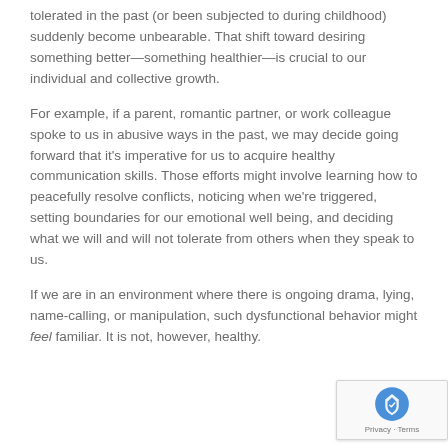tolerated in the past (or been subjected to during childhood) suddenly become unbearable. That shift toward desiring something better—something healthier—is crucial to our individual and collective growth.
For example, if a parent, romantic partner, or work colleague spoke to us in abusive ways in the past, we may decide going forward that it's imperative for us to acquire healthy communication skills. Those efforts might involve learning how to peacefully resolve conflicts, noticing when we're triggered, setting boundaries for our emotional well being, and deciding what we will and will not tolerate from others when they speak to us.
If we are in an environment where there is ongoing drama, lying, name-calling, or manipulation, such dysfunctional behavior might feel familiar. It is not, however, healthy.